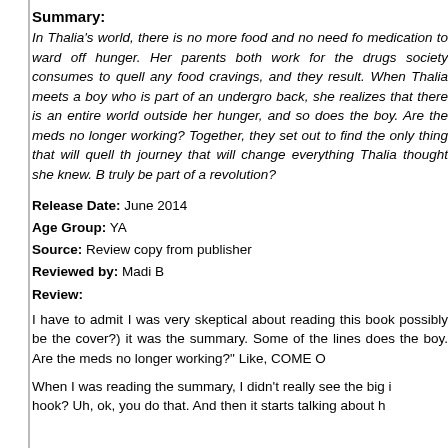Summary:
In Thalia's world, there is no more food and no need fo medication to ward off hunger. Her parents both work for the drugs society consumes to quell any food cravings, and they result. When Thalia meets a boy who is part of an undergro back, she realizes that there is an entire world outside her hunger, and so does the boy. Are the meds no longer working? Together, they set out to find the only thing that will quell th journey that will change everything Thalia thought she knew. B truly be part of a revolution?
Release Date: June 2014
Age Group: YA
Source: Review copy from publisher
Reviewed by: Madi B
Review:
I have to admit I was very skeptical about reading this book possibly be the cover?) it was the summary. Some of the lines does the boy. Are the meds no longer working?" Like, COME O
When I was reading the summary, I didn't really see the big i hook? Uh, ok, you do that. And then it starts talking about h